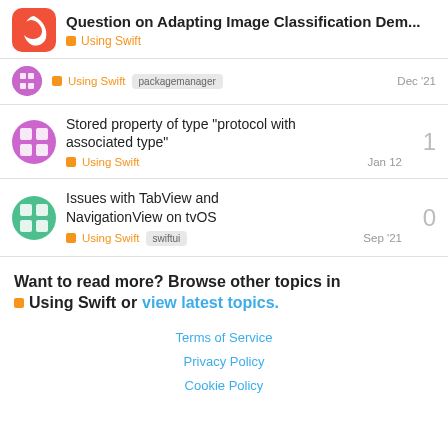Question on Adapting Image Classification Dem... | Using Swift
Using Swift | packagemanager | Dec '21
Stored property of type "protocol with associated type" | Using Swift | Jan 12 | 1 reply
Issues with TabView and NavigationView on tvOS | Using Swift | swiftui | Sep '21 | 0 replies
Want to read more? Browse other topics in Using Swift or view latest topics.
Terms of Service | Privacy Policy | Cookie Policy